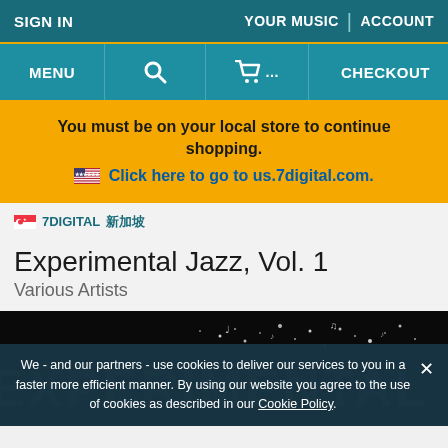SIGN IN | YOUR MUSIC | ACCOUNT
MENU | [search] | [cart]... | CHECKOUT
You must be on your local store to continue shopping. 🇺🇸 Click here to go to us.7digital.com.
🇸🇬 7DIGITAL 新加坡
Experimental Jazz, Vol. 1
Various Artists
[Figure (photo): Dark album art with white speckled particles and partial text 'EXPERIMENTAL JAZZ' visible]
We - and our partners - use cookies to deliver our services to you in a faster more efficient manner. By using our website you agree to the use of cookies as described in our Cookie Policy.